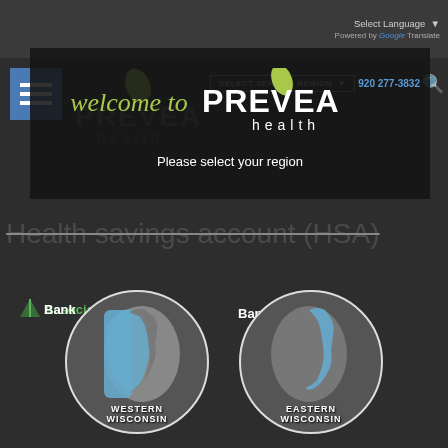Select Language | Powered by Google Translate
[Figure (logo): Prevea Health logo top left with blue square hamburger menu icon]
SELECT SERVICE REGION
[Figure (logo): Welcome to Prevea Health modal overlay with please select your region prompt]
Please select your region
Health savings account (HSA)
[Figure (logo): Associated Bank logo]
[Figure (illustration): Two circular region selector buttons with Wisconsin state map icons — Western Wisconsin (blue highlight on west) and Eastern Wisconsin (blue highlight on east)]
WESTERN WISCONSIN
EASTERN WISCONSIN